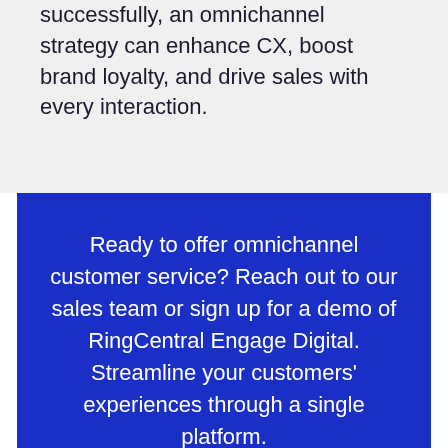successfully, an omnichannel strategy can enhance CX, boost brand loyalty, and drive sales with every interaction.
Ready to offer omnichannel customer service? Reach out to our sales team or sign up for a demo of RingCentral Engage Digital. Streamline your customers' experiences through a single platform.